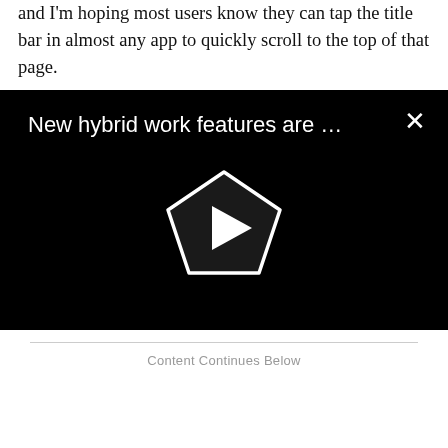and I'm hoping most users know they can tap the title bar in almost any app to quickly scroll to the top of that page.
[Figure (screenshot): Video player with black background showing title 'New hybrid work features are ...' with a pentagon-shaped play button in the center and an X close button in the top right corner.]
Content Continues Below